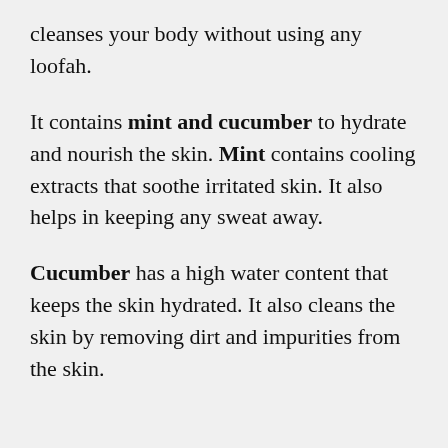cleanses your body without using any loofah.
It contains mint and cucumber to hydrate and nourish the skin. Mint contains cooling extracts that soothe irritated skin. It also helps in keeping any sweat away.
Cucumber has a high water content that keeps the skin hydrated. It also cleans the skin by removing dirt and impurities from the skin.